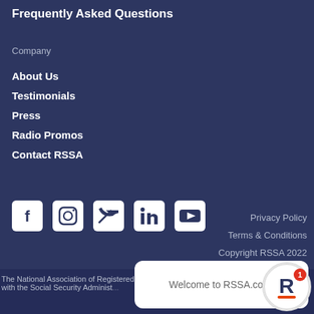Frequently Asked Questions
Company
About Us
Testimonials
Press
Radio Promos
Contact RSSA
[Figure (illustration): Social media icons: Facebook, Instagram, Twitter, LinkedIn, YouTube]
Privacy Policy
Terms & Conditions
Copyright RSSA 2022
The National Association of Registered Social Security Analysts, Ltd. has no affiliation with the Social Security Administ...
Welcome to RSSA.com.